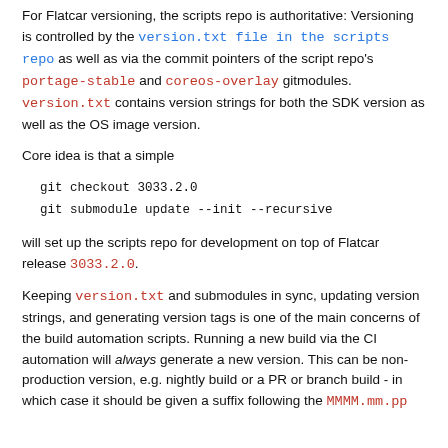For Flatcar versioning, the scripts repo is authoritative: Versioning is controlled by the version.txt file in the scripts repo as well as via the commit pointers of the script repo's portage-stable and coreos-overlay gitmodules. version.txt contains version strings for both the SDK version as well as the OS image version.
Core idea is that a simple
git checkout 3033.2.0
git submodule update --init --recursive
will set up the scripts repo for development on top of Flatcar release 3033.2.0.
Keeping version.txt and submodules in sync, updating version strings, and generating version tags is one of the main concerns of the build automation scripts. Running a new build via the CI automation will always generate a new version. This can be non-production version, e.g. nightly build or a PR or branch build - in which case it should be given a suffix following the MMMM.mm.pp